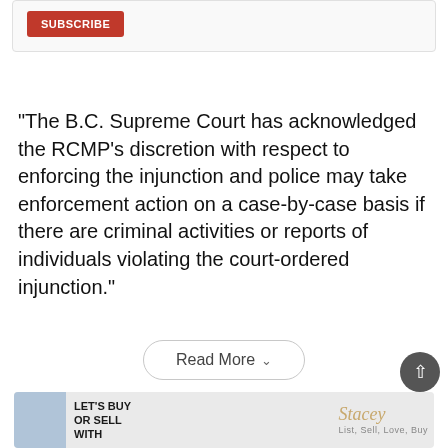[Figure (other): Subscribe button inside a card/box UI element]
“The B.C. Supreme Court has acknowledged the RCMP’s discretion with respect to enforcing the injunction and police may take enforcement action on a case-by-case basis if there are criminal activities or reports of individuals violating the court-ordered injunction.”
[Figure (other): Read More button with chevron dropdown]
[Figure (other): Previous / Next navigation bar]
[Figure (other): Back to top circular button]
[Figure (other): Advertisement banner: Let's Buy or Sell with Stacey — List, Sell, Love, Buy]